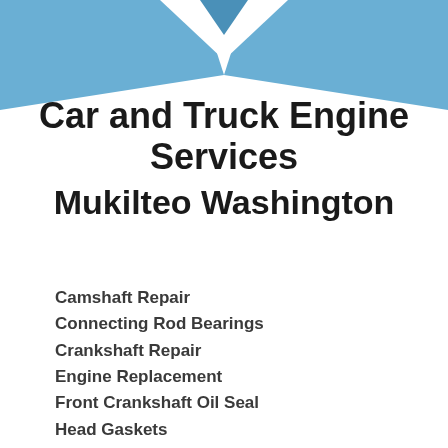[Figure (illustration): Blue decorative bowtie/chevron shapes at the top of the page forming a decorative header banner]
Car and Truck Engine Services Mukilteo Washington
Camshaft Repair
Connecting Rod Bearings
Crankshaft Repair
Engine Replacement
Front Crankshaft Oil Seal
Head Gaskets
Oil Pan Gaskets